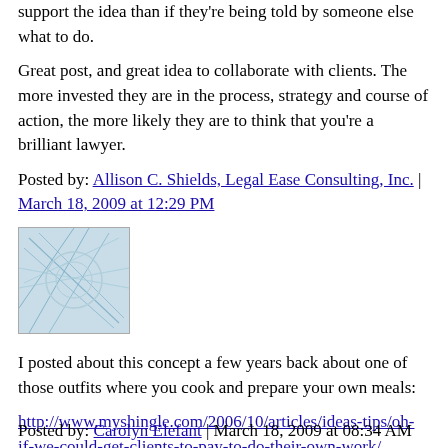support the idea than if they're being told by someone else what to do.
Great post, and great idea to collaborate with clients. The more invested they are in the process, strategy and course of action, the more likely they are to think that you're a brilliant lawyer.
Posted by: Allison C. Shields, Legal Ease Consulting, Inc. | March 18, 2009 at 12:29 PM
[Figure (photo): Small avatar image with light blue abstract pattern]
I posted about this concept a few years back about one of those outfits where you cook and prepare your own meals:
http://www.myshingle.com/2006/10/articles/ideas-tips/oh-if-we-could-get-clients-to-pay-to-do-their-own-work/
It's a great idea - and one reason why I think client portals are becoming so popular.
Posted by: Carolyn Elefant | March 18, 2009 at 08:34 AM